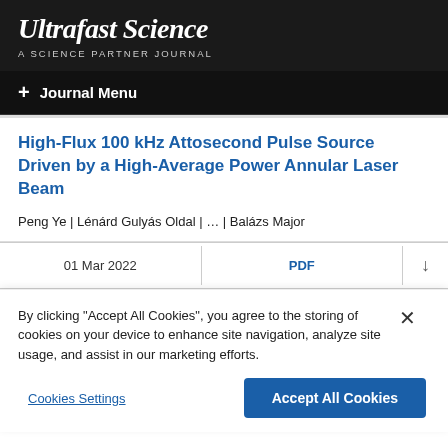Ultrafast Science
A SCIENCE PARTNER JOURNAL
+ Journal Menu
High-Flux 100 kHz Attosecond Pulse Source Driven by a High-Average Power Annular Laser Beam
Peng Ye | Lénárd Gulyás Oldal | ... | Balázs Major
01 Mar 2022   PDF   ↓
By clicking "Accept All Cookies", you agree to the storing of cookies on your device to enhance site navigation, analyze site usage, and assist in our marketing efforts.
Cookies Settings   Accept All Cookies